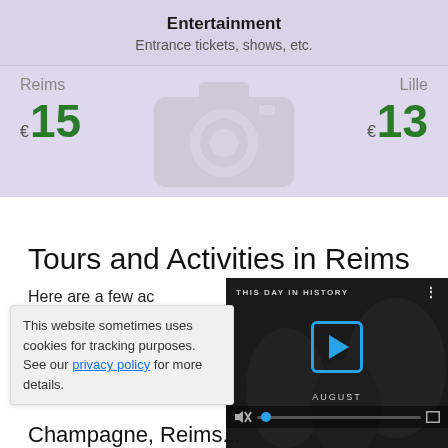Entertainment
Entrance tickets, shows, etc.
| Reims |  | Lille |
| --- | --- | --- |
| €15 |  | €13 |
Tours and Activities in Reims
Here are a few activities available activities
This website sometimes uses cookies for tracking purposes. See our privacy policy for more details.
[Figure (screenshot): Video player overlay showing 'THIS DAY IN HISTORY' with play button and AUGUST label, video controls visible]
Champagne, Reims...